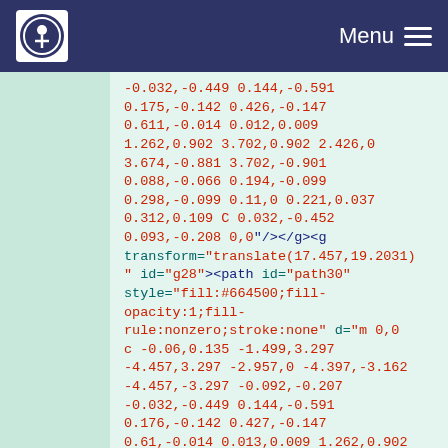Menu
-0.032,-0.449 0.144,-0.591
0.175,-0.142 0.426,-0.147
0.611,-0.014 0.012,0.009
1.262,0.902 3.702,0.902 2.426,0
3.674,-0.881 3.702,-0.901
0.088,-0.066 0.194,-0.099
0.298,-0.099 0.11,0 0.221,0.037
0.312,0.109 C 0.032,-0.452
0.093,-0.208 0,0"/></g><g
transform="translate(17.457,19.2031)
" id="g28"><path id="path30"
style="fill:#664500;fill-
opacity:1;fill-
rule:nonzero;stroke:none" d="m 0,0
c -0.06,0.135 -1.499,3.297
-4.457,3.297 -2.957,0 -4.397,-3.162
-4.457,-3.297 -0.092,-0.207
-0.032,-0.449 0.144,-0.591
0.176,-0.142 0.427,-0.147
0.61,-0.014 0.013,0.009 1.262,0.902